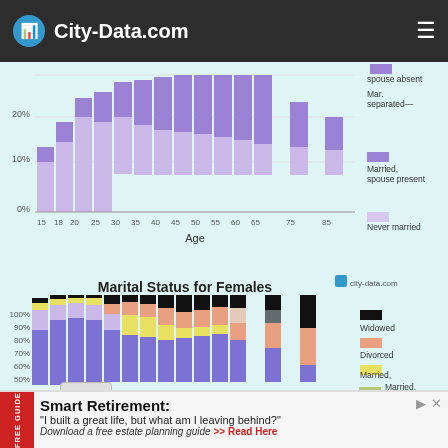City-Data.com
[Figure (stacked-bar-chart): Stacked bar chart showing marital status for males by age group, with purple (Married, spouse present) and pink (Never married) segments]
[Figure (stacked-bar-chart): Stacked bar chart showing marital status for females by age group with segments: Widowed (black), Divorced (pink/salmon), Married spouse absent (yellow), Married separated (olive/green), Married (purple)]
Smart Retirement: "I built a great life, but what am I leaving behind?" Download a free estate planning guide >> Read Here